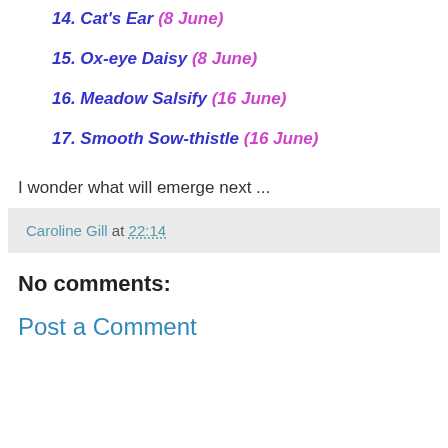14. Cat's Ear (8 June)
15. Ox-eye Daisy (8 June)
16. Meadow Salsify (16 June)
17. Smooth Sow-thistle (16 June)
I wonder what will emerge next ...
Caroline Gill at 22:14
No comments:
Post a Comment